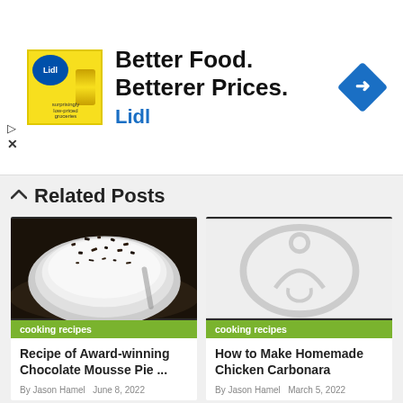[Figure (other): Lidl advertisement banner with logo, yellow background, text 'Better Food. Betterer Prices. Lidl' and a blue diamond navigation arrow icon]
Related Posts
[Figure (photo): Photo of a chocolate mousse pie with white cream and dark chocolate crumbles on top, on a plate with dark background]
cooking recipes
Recipe of Award-winning Chocolate Mousse Pie ...
By Jason Hamel  June 8, 2022
[Figure (photo): Placeholder image with light watermark/illustration for chicken carbonara recipe]
cooking recipes
How to Make Homemade Chicken Carbonara
By Jason Hamel  March 5, 2022